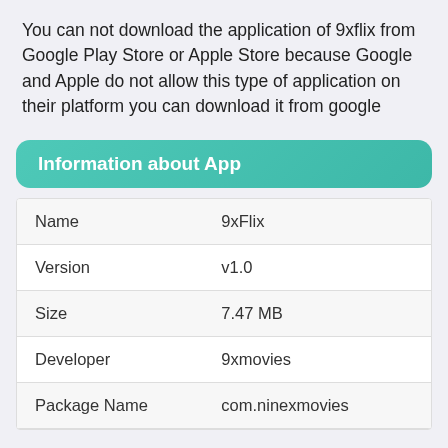You can not download the application of 9xflix from Google Play Store or Apple Store because Google and Apple do not allow this type of application on their platform you can download it from google
Information about App
| Name | 9xFlix |
| Version | v1.0 |
| Size | 7.47 MB |
| Developer | 9xmovies |
| Package Name | com.ninexmovies |